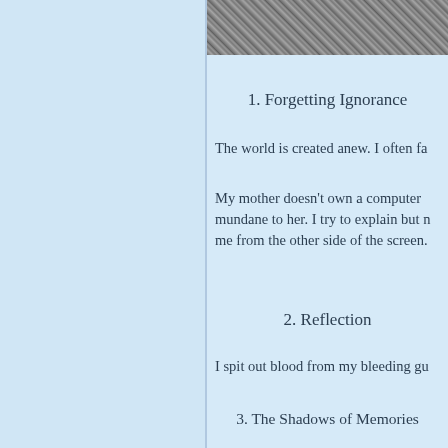[Figure (photo): Grayscale photo strip at top right, appears to show rocky or gravelly texture]
1. Forgetting Ignorance
The world is created anew. I often fa
My mother doesn’t own a computer mundane to her. I try to explain but me from the other side of the screen.
2. Reflection
I spit out blood from my bleeding gu
3. The Shadows of Memories
One can think about so many things